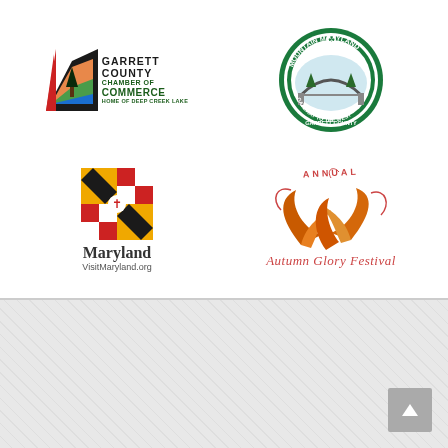[Figure (logo): Garrett County Chamber of Commerce logo — Home of Deep Creek Lake, with tree/landscape icon]
[Figure (logo): Mountain Maryland Gateway to the West, Garrett County oval badge with bridge illustration]
[Figure (logo): Maryland state flag crab/cross logo with text 'Maryland VisitMaryland.org']
[Figure (logo): Annual Autumn Glory Festival logo with autumn leaf illustration and script text]
Get In Touch!
(888) 387-5237